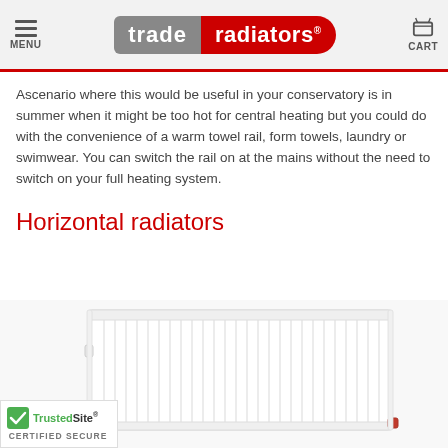MENU | trade radiators | CART
Ascenario where this would be useful in your conservatory is in summer when it might be too hot for central heating but you could do with the convenience of a warm towel rail, form towels, laundry or swimwear. You can switch the rail on at the mains without the need to switch on your full heating system.
Horizontal radiators
[Figure (photo): A white horizontal panel radiator photographed from a slight angle, showing vertical fins and side connectors.]
TrustedSite CERTIFIED SECURE